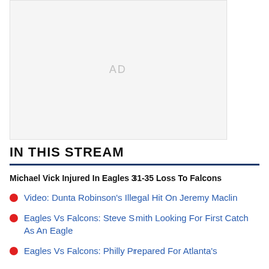[Figure (other): Advertisement placeholder box with 'AD' text in light gray]
IN THIS STREAM
Michael Vick Injured In Eagles 31-35 Loss To Falcons
Video: Dunta Robinson's Illegal Hit On Jeremy Maclin
Eagles Vs Falcons: Steve Smith Looking For First Catch As An Eagle
Eagles Vs Falcons: Philly Prepared For Atlanta's